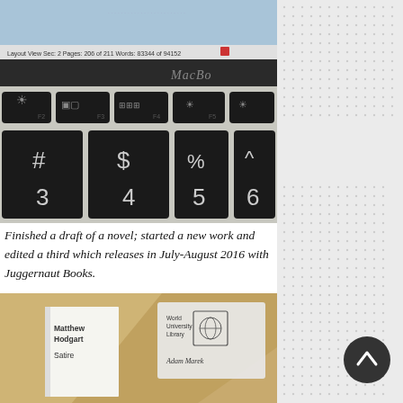[Figure (photo): Close-up photo of a MacBook keyboard showing function keys (F2-F5) and number keys (3-6), with a Word or Pages document visible on screen showing 'Pages: 206 of 211, Words: 83344 of 94152']
Finished a draft of a novel; started a new work and edited a third which releases in July-August 2016 with Juggernaut Books.
[Figure (photo): Photo of a library card from the World University Library in the name of Adam Marek, placed on top of a book titled 'Satire' by Matthew Hodgart, on a wooden surface with light and shadow]